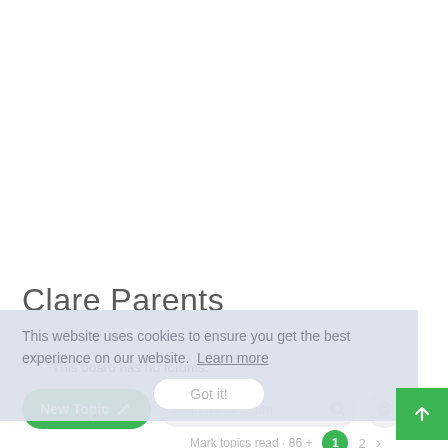Clare Parents
This website uses cookies to ensure you get the best experience on our website. Learn more
This board has no forums.
New Topic
Search this forum...
Got it!
Mark topics read · 86 +